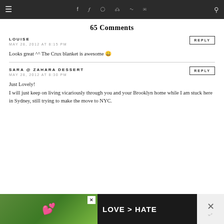≡  f  𝕏  ◻  ⊕  ⌁  ✉  🔍
65 Comments
LOUISE
MAY 28, 2012 AT 8:15 PM
Looks great ^^ The Crux blanket is awesome 😀
SARA @ ZAHARA DESSERT
MAY 28, 2012 AT 8:30 PM
Just Lovely!
I will just keep on living vicariously through you and your Brooklyn home while I am stuck here in Sydney, still trying to make the move to NYC.
[Figure (photo): Advertisement banner: LOVE > HATE with heart hands photo and close button]